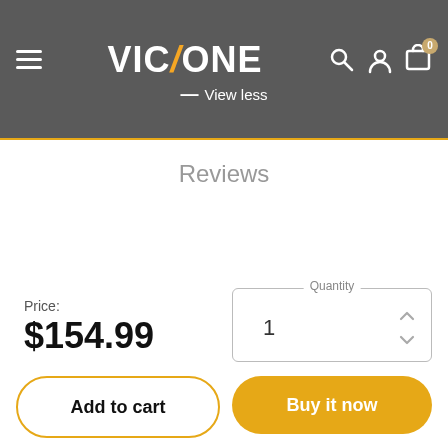VICTONE — View less
Reviews
Price: $154.99
Quantity: 1
Add to cart
Buy it now